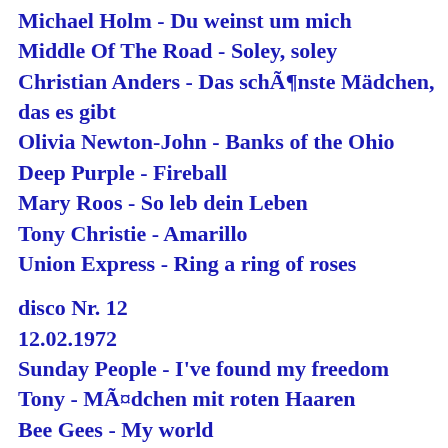Michael Holm - Du weinst um mich
Middle Of The Road - Soley, soley
Christian Anders - Das schönste Mädchen, das es gibt
Olivia Newton-John - Banks of the Ohio
Deep Purple - Fireball
Mary Roos - So leb dein Leben
Tony Christie - Amarillo
Union Express - Ring a ring of roses
disco Nr. 12
12.02.1972
Sunday People - I've found my freedom
Tony - Mädchen mit roten Haaren
Bee Gees - My world
New Lords - We go out in the